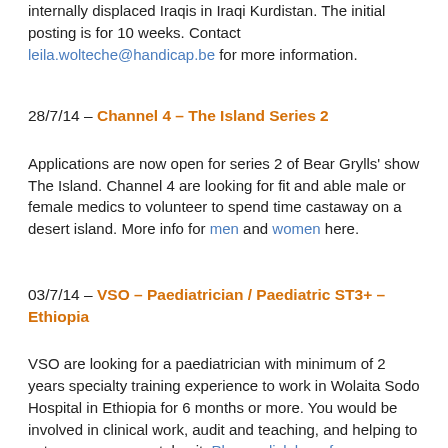internally displaced Iraqis in Iraqi Kurdistan. The initial posting is for 10 weeks. Contact leila.wolteche@handicap.be for more information.
28/7/14 – Channel 4 – The Island Series 2
Applications are now open for series 2 of Bear Grylls' show The Island. Channel 4 are looking for fit and able male or female medics to volunteer to spend time castaway on a desert island. More info for men and women here.
03/7/14 – VSO – Paediatrician / Paediatric ST3+ – Ethiopia
VSO are looking for a paediatrician with minimum of 2 years specialty training experience to work in Wolaita Sodo Hospital in Ethiopia for 6 months or more. You would be involved in clinical work, audit and teaching, and helping to set up a new neonatal unit. Please click here for more details and how to apply. Closing date for applications 31/07/14.